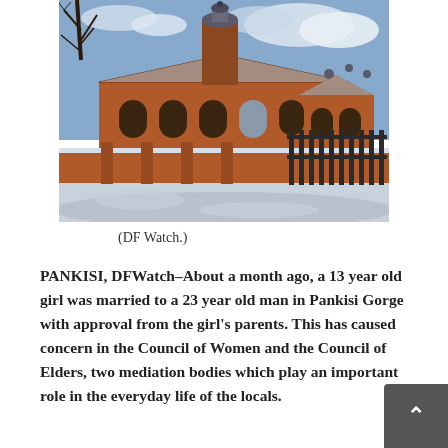[Figure (photo): A red brick building with arched windows and a domed tower, covered in snow, with bare trees and a cloudy sky in the background. A brick wall with iron gates runs along the front.]
(DF Watch.)
PANKISI, DFWatch–About a month ago, a 13 year old girl was married to a 23 year old man in Pankisi Gorge with approval from the girl's parents. This has caused concern in the Council of Women and the Council of Elders, two mediation bodies which play an important role in the everyday life of the locals.